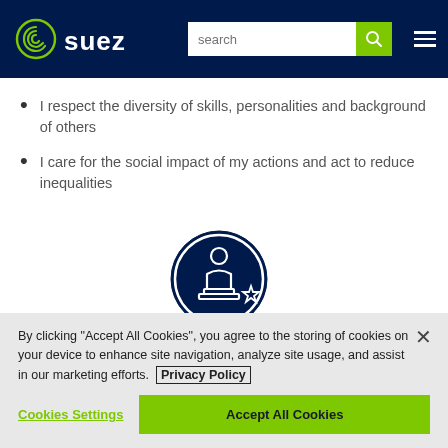SUEZ — navigation header with logo, search bar, and hamburger menu
I respect the diversity of skills, personalities and background of others
I care for the social impact of my actions and act to reduce inequalities
[Figure (illustration): Dark navy circular icon showing a person/award figure with a star, representing excellence or recognition]
By clicking "Accept All Cookies", you agree to the storing of cookies on your device to enhance site navigation, analyze site usage, and assist in our marketing efforts. Privacy Policy
Cookies Settings | Accept All Cookies